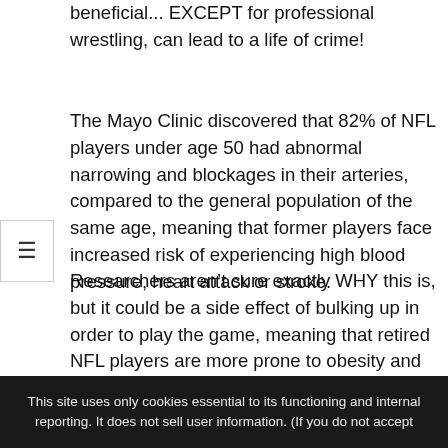beneficial... EXCEPT for professional wrestling, can lead to a life of crime!
The Mayo Clinic discovered that 82% of NFL players under age 50 had abnormal narrowing and blockages in their arteries, compared to the general population of the same age, meaning that former players face increased risk of experiencing high blood pressure, heart attack or stroke.
Researchers aren't sure exactly WHY this is, but it could be a side effect of bulking up in order to play the game, meaning that retired NFL players are more prone to obesity and obstructive sleep apnea than the general population. Also, retired NFL players have an increased rate of metabolic syndrome, a condition increasingly
This site uses only cookies essential to its functioning and internal reporting. It does not sell user information. (If you do not accept